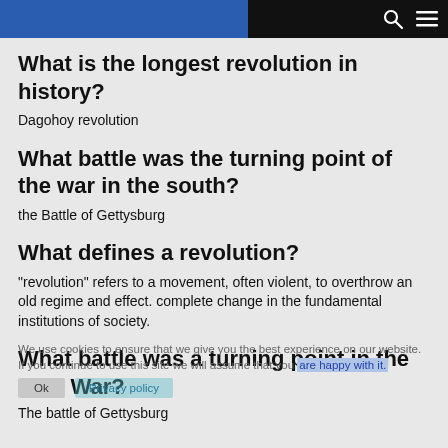Navigation header with search and menu icons
What is the longest revolution in history?
Dagohoy revolution
What battle was the turning point of the war in the south?
the Battle of Gettysburg
What defines a revolution?
"revolution" refers to a movement, often violent, to overthrow an old regime and effect. complete change in the fundamental institutions of society.
What battle was a turning point in the Civil War?
The battle of Gettysburg